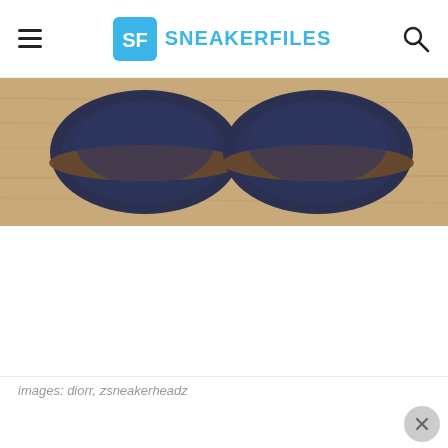SneakerFiles
[Figure (photo): Top-down view of two dark navy/denim sneakers on a light wood surface]
images: diorr, zsneakerheadz